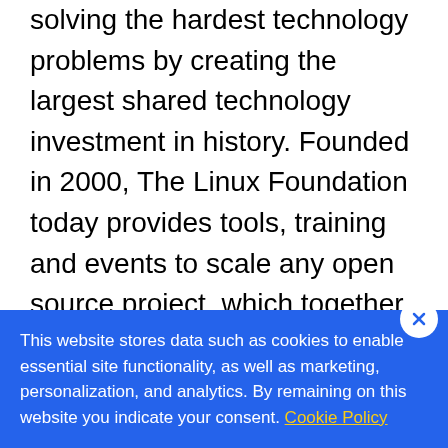solving the hardest technology problems by creating the largest shared technology investment in history. Founded in 2000, The Linux Foundation today provides tools, training and events to scale any open source project, which together deliver an economic impact not achievable by any one company. More information can be found at www.linuxfoundation.org.
The Linux Foundation has registered
This website stores data such as cookies to enable essential site functionality, as well as marketing, personalization, and analytics. By remaining on this website you indicate your consent. Cookie Policy